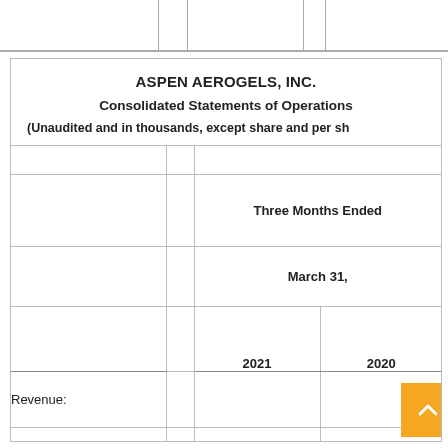ASPEN AEROGELS, INC.
Consolidated Statements of Operations
(Unaudited and in thousands, except share and per sh[are data])
|  |  | Three Months Ended March 31, 2021 | Three Months Ended March 31, 2020 |
| --- | --- | --- | --- |
| Revenue: |  |  |  |